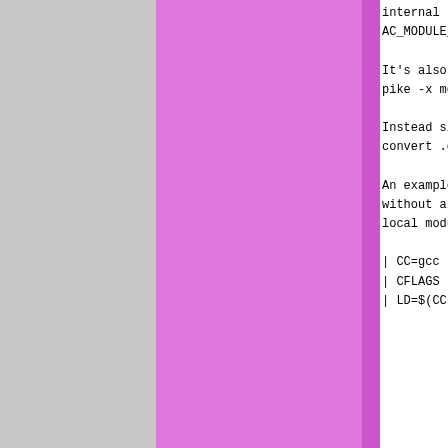| hash | date | author | code |
| --- | --- | --- | --- |
|  |  |  | internal AC_MODULE_ |
|  |  |  | It's also pike -x mo |
|  |  |  | Instead si convert .c |
|  |  |  | An example without a local modu |
|  |  |  | | CC=gcc | CFLAGS | LD=$(CC |
| 91e1ec | 2012-04-14 | Henrik Grubbström (Grubba) | | |
| abfd1b | 2008-06-29 | Per Hedbor | | all: Spi | | install |    cp $ |
| 91e1ec | 2012-04-14 | Henrik Grubbström (Grubba) | | |
| abfd1b | 2008-06-29 | Per Hedbor | | Spike.so |    $(LD |
| 91e1ec | 2012-04-14 | Henrik Grubbström (Grubba) | | |
| abfd1b | 2008-06-29 | Per Hedbor | | Spike.o |